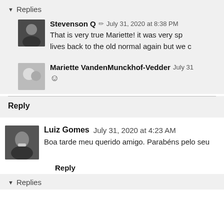▾ Replies
Stevenson Q ✎ July 31, 2020 at 8:38 PM
That is very true Mariette! it was very sp... lives back to the old normal again but we c...
Mariette VandenMunckhof-Vedder July 31
☺
Reply
Luiz Gomes July 31, 2020 at 4:23 AM
Boa tarde meu querido amigo. Parabéns pelo seu...
Reply
▾ Replies